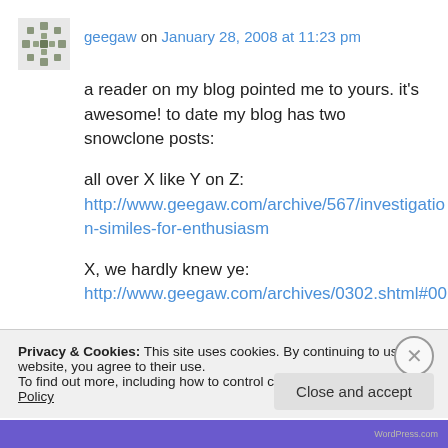geegaw on January 28, 2008 at 11:23 pm
a reader on my blog pointed me to yours. it's awesome! to date my blog has two snowclone posts:
all over X like Y on Z:
http://www.geegaw.com/archive/567/investigation-similes-for-enthusiasm
X, we hardly knew ye:
http://www.geegaw.com/archives/0302.shtml#00
Privacy & Cookies: This site uses cookies. By continuing to use this website, you agree to their use.
To find out more, including how to control cookies, see here: Cookie Policy
Close and accept